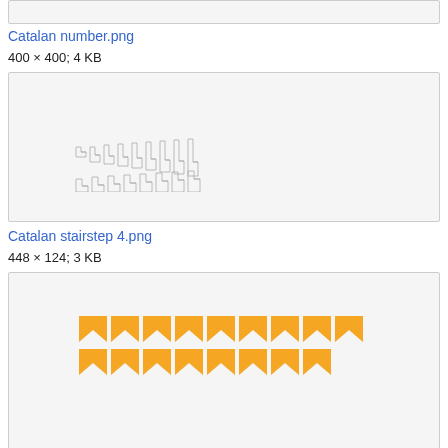[Figure (illustration): Top gray box (partial image from previous entry)]
Catalan number.png
400 × 400; 4 KB
[Figure (illustration): Gray box containing Catalan stairstep diagram showing staircase outlines in gray/white]
Catalan stairstep 4.png
448 × 124; 3 KB
[Figure (illustration): Gray box containing orange triangular/arrow shapes arranged in two rows of 9]